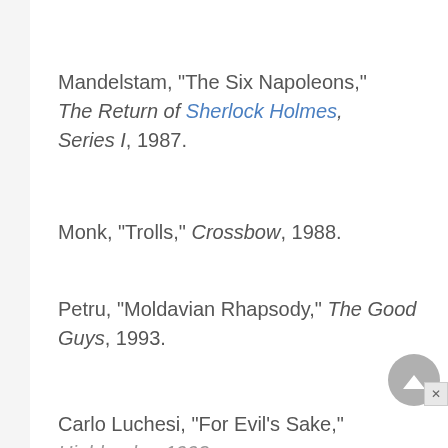Mandelstam, "The Six Napoleons," The Return of Sherlock Holmes, Series I, 1987.
Monk, "Trolls," Crossbow, 1988.
Petru, "Moldavian Rhapsody," The Good Guys, 1993.
Carlo Luchesi, "For Evil's Sake," Highlander, 1993.